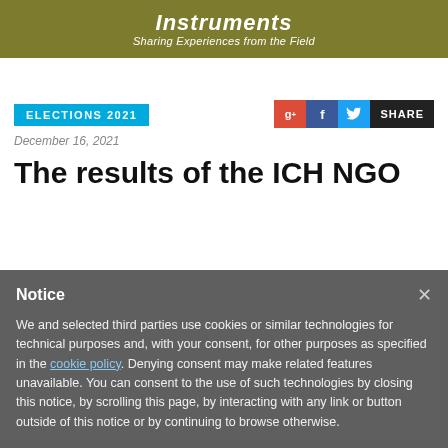[Figure (screenshot): Website header banner with olive/khaki background showing 'Instruments' in white bold italic and 'Sharing Experiences from the Field' as subtitle]
ELECTIONS 2021
[Figure (other): Social share buttons: Google+, Facebook, Twitter, and SHARE label]
December 16, 2021
The results of the ICH NGO
Notice
We and selected third parties use cookies or similar technologies for technical purposes and, with your consent, for other purposes as specified in the cookie policy. Denying consent may make related features unavailable. You can consent to the use of such technologies by closing this notice, by scrolling this page, by interacting with any link or button outside of this notice or by continuing to browse otherwise.